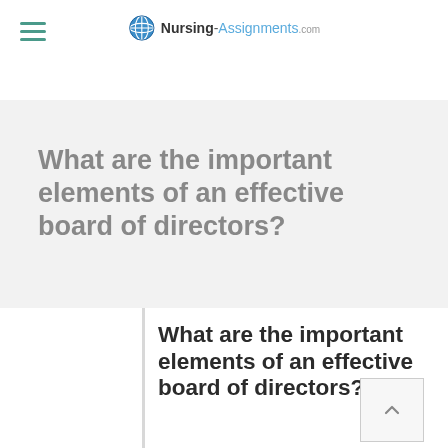Nursing-Assignments.com
What are the important elements of an effective board of directors?
What are the important elements of an effective board of directors?